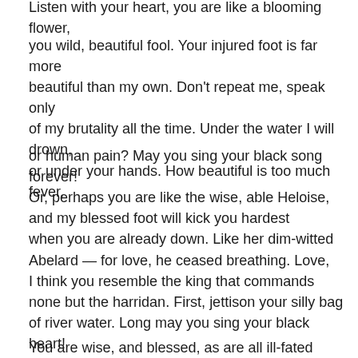Listen with your heart, you are like a blooming flower,
you wild, beautiful fool. Your injured foot is far more beautiful than my own. Don't repeat me, speak only of my brutality all the time. Under the water I will drown, or under your hands. How beautiful is too much fever,
or human pain? May you sing your black song forever! Or, perhaps you are like the wise, able Heloise, and my blessed foot will kick you hardest when you are already down. Like her dim-witted
Abelard — for love, he ceased breathing. Love, I think you resemble the king that commands none but the harridan. First, jettison your silly bag of river water. Long may you sing your black heart!
You are wise, and blessed, as are all ill-fated lovers. For the…